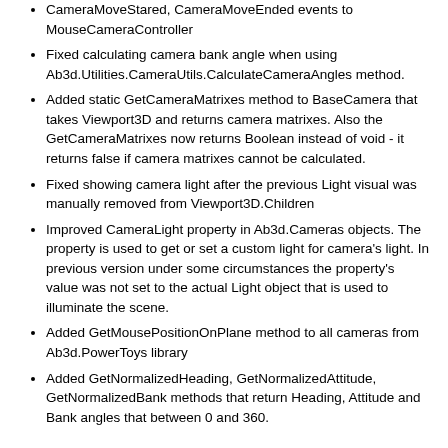CameraMoveStared, CameraMoveEnded events to MouseCameraController
Fixed calculating camera bank angle when using Ab3d.Utilities.CameraUtils.CalculateCameraAngles method.
Added static GetCameraMatrixes method to BaseCamera that takes Viewport3D and returns camera matrixes. Also the GetCameraMatrixes now returns Boolean instead of void - it returns false if camera matrixes cannot be calculated.
Fixed showing camera light after the previous Light visual was manually removed from Viewport3D.Children
Improved CameraLight property in Ab3d.Cameras objects. The property is used to get or set a custom light for camera's light. In previous version under some circumstances the property's value was not set to the actual Light object that is used to illuminate the scene.
Added GetMousePositionOnPlane method to all cameras from Ab3d.PowerToys library
Added GetNormalizedHeading, GetNormalizedAttitude, GetNormalizedBank methods that return Heading, Attitude and Bank angles that between 0 and 360.
3D Lines:
Fixed updating 3D lines for WireGridVisual3D when its IsClosed property was set to true.
Improved LinesUpdater with adding a RegisteredLinesCount property to get number of registered lines. Also added UnregisterLine method that takes any 3D line visual from Ab3d.PowerToys.